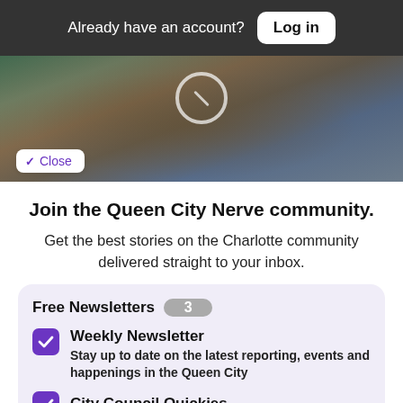Already have an account? Log in
[Figure (photo): Photo of a person working with items on a table, partially visible, with colorful items in background]
Close
Join the Queen City Nerve community.
Get the best stories on the Charlotte community delivered straight to your inbox.
Free Newsletters 3
Weekly Newsletter — Stay up to date on the latest reporting, events and happenings in the Queen City
City Council Quickies